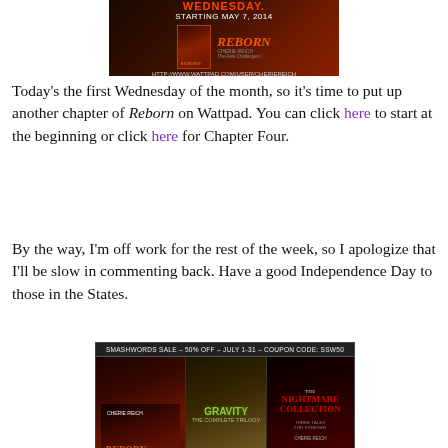[Figure (illustration): Book promotion banner for Reborn by Cherie Reich on Wattpad, showing book cover against dark background with text WEDNESDAY. STARTING MAY 7, 2014 and URL http://www.wattpad.com/user/cheriereich]
Today's the first Wednesday of the month, so it's time to put up another chapter of Reborn on Wattpad. You can click here to start at the beginning or click here for Chapter Four.
By the way, I'm off work for the rest of the week, so I apologize that I'll be slow in commenting back. Have a good Independence Day to those in the States.
[Figure (illustration): Smashwords Sale banner: 50% off, July 1-31, Coupon Code: SSW50, showing three book covers: Reborn, Gravity The Complete Trilogy, and The Nightmare Collection, all by Cherie Reich]
Smashwords is having its annual Summer/Winter sale. You can purchase Reborn, Gravity: The Complete Trilogy, and The